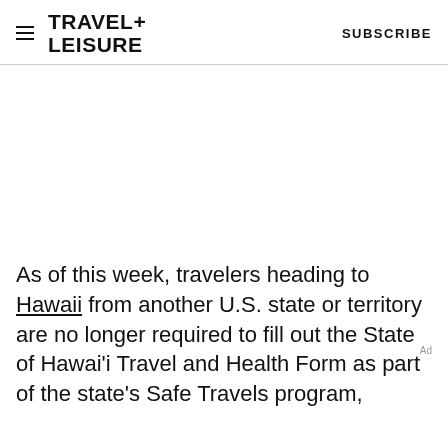TRAVEL+ LEISURE   SUBSCRIBE
As of this week, travelers heading to Hawaii from another U.S. state or territory are no longer required to fill out the State of Hawaiʻi Travel and Health Form as part of the state's Safe Travels program,